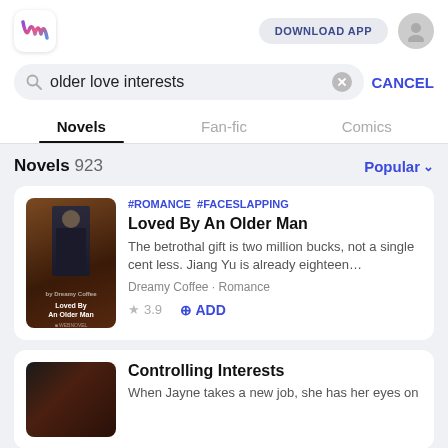Webnovel app header with logo, DOWNLOAD APP button, and user avatar
older love interests
CANCEL
Novels  Fan-fic  Comics
Novels 923
Popular
[Figure (illustration): Book cover for Loved By An Older Man showing a man in a dark suit against a dark background with the title text]
#ROMANCE  #FACESLAPPING
Loved By An Older Man
The betrothal gift is two million bucks, not a single cent less. Jiang Yu is already eighteen…
Dreamy Coffee · Romance
3.9
+ ADD
[Figure (photo): Book cover for Controlling Interests showing a couple in an intimate pose]
Controlling Interests
When Jayne takes a new job, she has her eyes on